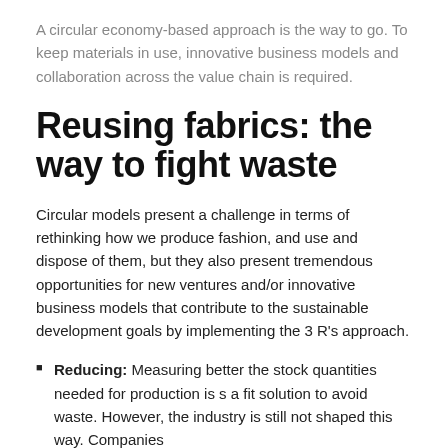A circular economy-based approach is the way to go. To keep materials in use, innovative business models and collaboration across the value chain is required.
Reusing fabrics: the way to fight waste
Circular models present a challenge in terms of rethinking how we produce fashion, and use and dispose of them, but they also present tremendous opportunities for new ventures and/or innovative business models that contribute to the sustainable development goals by implementing the 3 R's approach.
Reducing: Measuring better the stock quantities needed for production is s a fit solution to avoid waste. However, the industry is still not shaped this way. Companies